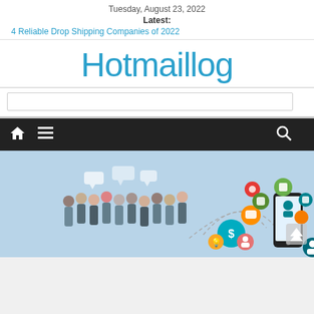Tuesday, August 23, 2022
Latest:
4 Reliable Drop Shipping Companies of 2022
Hotmaillog
[Figure (screenshot): Navigation bar with home icon, hamburger menu icon, and search icon on dark background]
[Figure (illustration): Illustration showing a group of business people on the left and colorful social media / app icons floating toward a smartphone on the right, on a light blue background]